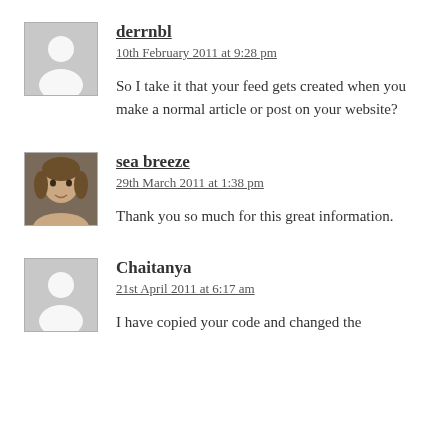derrnbl
10th February 2011 at 9:28 pm
So I take it that your feed gets created when you make a normal article or post on your website?
sea breeze
29th March 2011 at 1:38 pm
Thank you so much for this great information.
Chaitanya
21st April 2011 at 6:17 am
I have copied your code and changed the